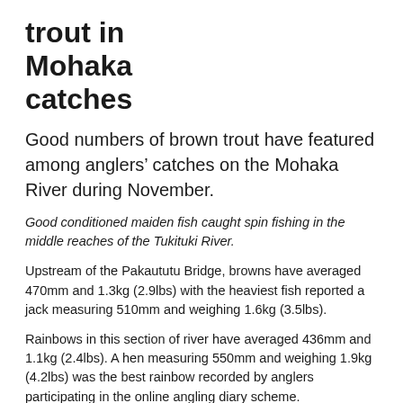trout in Mohaka catches
Good numbers of brown trout have featured among anglers’ catches on the Mohaka River during November.
Good conditioned maiden fish caught spin fishing in the middle reaches of the Tukituki River.
Upstream of the Pakaututu Bridge, browns have averaged 470mm and 1.3kg (2.9lbs) with the heaviest fish reported a jack measuring 510mm and weighing 1.6kg (3.5lbs).
Rainbows in this section of river have averaged 436mm and 1.1kg (2.4lbs). A hen measuring 550mm and weighing 1.9kg (4.2lbs) was the best rainbow recorded by anglers participating in the online angling diary scheme.